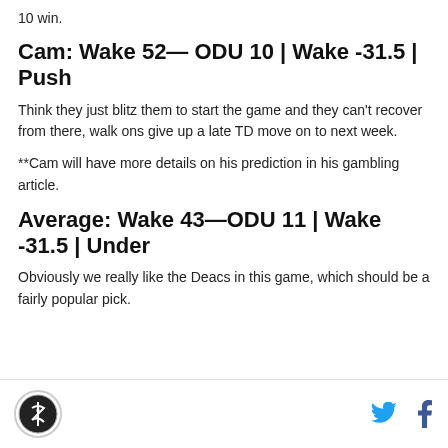10 win.
Cam: Wake 52— ODU 10 | Wake -31.5 | Push
Think they just blitz them to start the game and they can't recover from there, walk ons give up a late TD move on to next week.
**Cam will have more details on his prediction in his gambling article.
Average: Wake 43—ODU 11 | Wake -31.5 | Under
Obviously we really like the Deacs in this game, which should be a fairly popular pick.
Logo, Twitter, Facebook